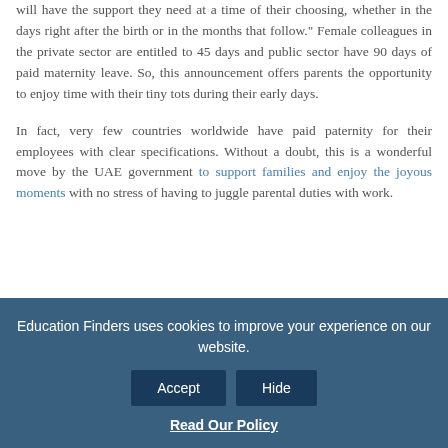will have the support they need at a time of their choosing, whether in the days right after the birth or in the months that follow." Female colleagues in the private sector are entitled to 45 days and public sector have 90 days of paid maternity leave. So, this announcement offers parents the opportunity to enjoy time with their tiny tots during their early days.
In fact, very few countries worldwide have paid paternity for their employees with clear specifications. Without a doubt, this is a wonderful move by the UAE government to support families and enjoy the joyous moments with no stress of having to juggle parental duties with work.
[Figure (other): Social media share icons: Facebook, Twitter, LinkedIn, Email]
Education Finders uses cookies to improve your experience on our website.
Accept | Hide
Read Our Policy